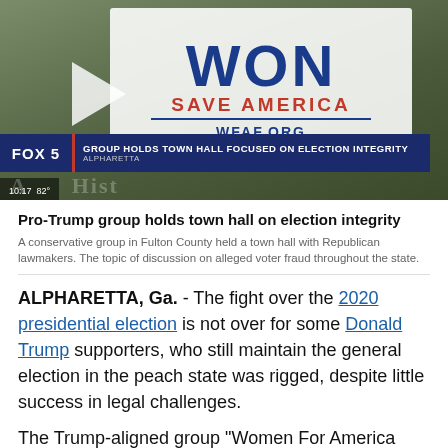[Figure (screenshot): Fox 5 news screenshot showing a person holding a 'WON SAVE AMERICA WFAF.ORG' sign with lower-third chyron reading 'GROUP HOLDS TOWN HALL FOCUSED ON ELECTION INTEGRITY / ALPHARETTA' and timestamp 10:17 82°. A play button triangle is visible indicating video thumbnail.]
Pro-Trump group holds town hall on election integrity
A conservative group in Fulton County held a town hall with Republican lawmakers. The topic of discussion on alleged voter fraud throughout the state.
ALPHARETTA, Ga. - The fight over the 2020 presidential election is not over for some Donald Trump supporters, who still maintain the general election in the peach state was rigged, despite little success in legal challenges.
The Trump-aligned group "Women For America First" hosted an event focused on election integrity in Fulton